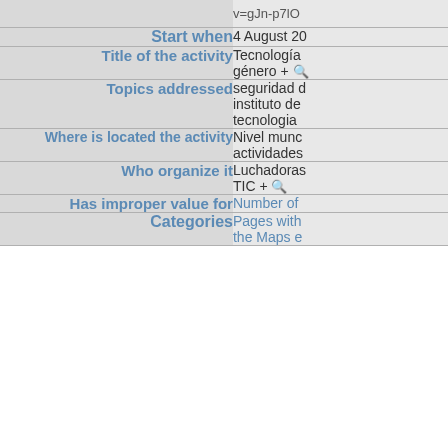| Field | Value |
| --- | --- |
|  | v=gJn-p7lO... |
| Start when | 4 August 20... |
| Title of the activity | Tecnología... género + 🔍 |
| Topics addressed | seguridad d... instituto de... tecnologia... |
| Where is located the activity | Nivel munc... actividades... |
| Who organize it | Luchadoras... TIC + 🔍 |
| Has improper value for | Number of... |
| Categories | Pages with... the Maps e... |